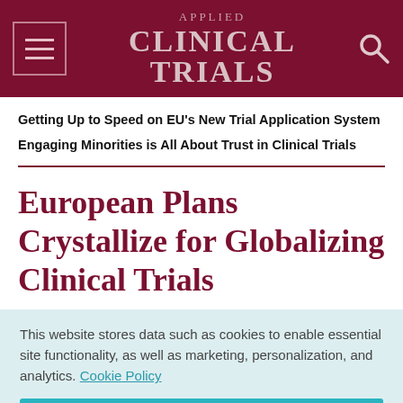Applied Clinical Trials
Getting Up to Speed on EU's New Trial Application System
Engaging Minorities is All About Trust in Clinical Trials
European Plans Crystallize for Globalizing Clinical Trials
This website stores data such as cookies to enable essential site functionality, as well as marketing, personalization, and analytics. Cookie Policy
Accept
Deny